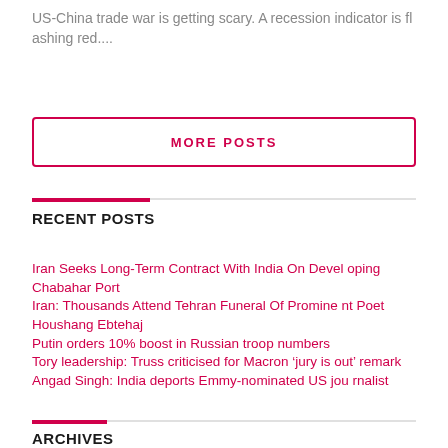US-China trade war is getting scary. A recession indicator is flashing red....
MORE POSTS
RECENT POSTS
Iran Seeks Long-Term Contract With India On Developing Chabahar Port
Iran: Thousands Attend Tehran Funeral Of Prominent Poet Houshang Ebtehaj
Putin orders 10% boost in Russian troop numbers
Tory leadership: Truss criticised for Macron ‘jury is out’ remark
Angad Singh: India deports Emmy-nominated US journalist
ARCHIVES